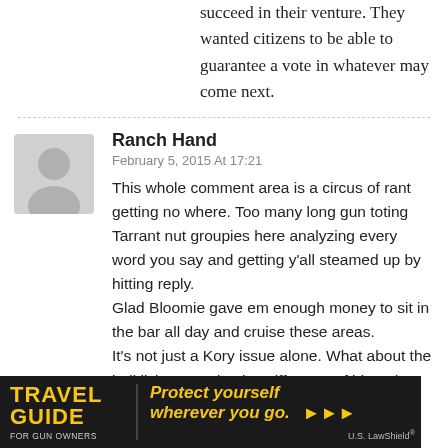succeed in their venture. They wanted citizens to be able to guarantee a vote in whatever may come next.
Ranch Hand
February 5, 2015 At 17:21
This whole comment area is a circus of rant getting no where. Too many long gun toting Tarrant nut groupies here analyzing every word you say and getting y'all steamed up by hitting reply.
Glad Bloomie gave em enough money to sit in the bar all day and cruise these areas.
It's not just a Kory issue alone. What about the ball lickers staying in sniff range of him. They think the next coming will be through man. That's why they dig through his poop.
[Figure (photo): Advertisement banner: Travel Guide For Gun Owners - Protect yourself wherever you go. U.S. LawShield.]